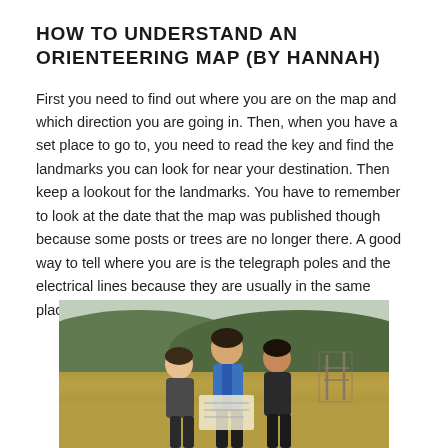HOW TO UNDERSTAND AN ORIENTEERING MAP (BY HANNAH)
First you need to find out where you are on the map and which direction you are going in. Then, when you have a set place to go to, you need to read the key and find the landmarks you can look for near your destination. Then keep a lookout for the landmarks. You have to remember to look at the date that the map was published though because some posts or trees are no longer there. A good way to tell where you are is the telegraph poles and the electrical lines because they are usually in the same place.
[Figure (photo): Outdoor photo of three children/teenagers looking at a map together in a grassy hillside landscape with hills and overcast sky in the background.]